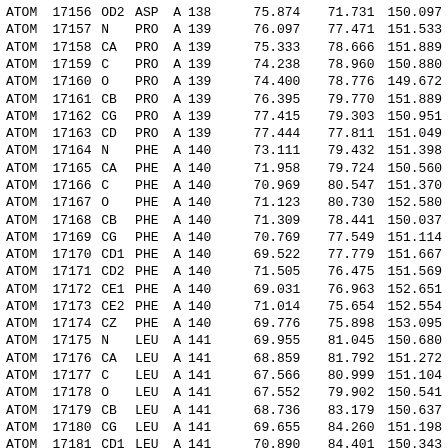| Record | Serial | Atom | Res | Chain | SeqNo | X | Y | Z |
| --- | --- | --- | --- | --- | --- | --- | --- | --- |
| ATOM | 17156 | OD2 | ASP | A | 138 | 75.874 | 71.731 | 150.097 |
| ATOM | 17157 | N | PRO | A | 139 | 76.097 | 77.471 | 151.533 |
| ATOM | 17158 | CA | PRO | A | 139 | 75.333 | 78.666 | 151.889 |
| ATOM | 17159 | C | PRO | A | 139 | 74.238 | 78.960 | 150.880 |
| ATOM | 17160 | O | PRO | A | 139 | 74.400 | 78.776 | 149.672 |
| ATOM | 17161 | CB | PRO | A | 139 | 76.395 | 79.770 | 151.889 |
| ATOM | 17162 | CG | PRO | A | 139 | 77.415 | 79.303 | 150.951 |
| ATOM | 17163 | CD | PRO | A | 139 | 77.444 | 77.811 | 151.049 |
| ATOM | 17164 | N | PHE | A | 140 | 73.111 | 79.432 | 151.398 |
| ATOM | 17165 | CA | PHE | A | 140 | 71.958 | 79.724 | 150.560 |
| ATOM | 17166 | C | PHE | A | 140 | 70.969 | 80.547 | 151.370 |
| ATOM | 17167 | O | PHE | A | 140 | 71.123 | 80.730 | 152.580 |
| ATOM | 17168 | CB | PHE | A | 140 | 71.309 | 78.441 | 150.037 |
| ATOM | 17169 | CG | PHE | A | 140 | 70.769 | 77.549 | 151.114 |
| ATOM | 17170 | CD1 | PHE | A | 140 | 69.522 | 77.779 | 151.667 |
| ATOM | 17171 | CD2 | PHE | A | 140 | 71.505 | 76.475 | 151.569 |
| ATOM | 17172 | CE1 | PHE | A | 140 | 69.031 | 76.963 | 152.651 |
| ATOM | 17173 | CE2 | PHE | A | 140 | 71.014 | 75.654 | 152.554 |
| ATOM | 17174 | CZ | PHE | A | 140 | 69.776 | 75.898 | 153.095 |
| ATOM | 17175 | N | LEU | A | 141 | 69.955 | 81.045 | 150.680 |
| ATOM | 17176 | CA | LEU | A | 141 | 68.859 | 81.792 | 151.272 |
| ATOM | 17177 | C | LEU | A | 141 | 67.566 | 80.999 | 151.104 |
| ATOM | 17178 | O | LEU | A | 141 | 67.552 | 79.902 | 150.541 |
| ATOM | 17179 | CB | LEU | A | 141 | 68.736 | 83.179 | 150.637 |
| ATOM | 17180 | CG | LEU | A | 141 | 69.655 | 84.260 | 151.198 |
| ATOM | 17181 | CD1 | LEU | A | 141 | 70.890 | 84.401 | 150.343 |
| ATOM | 17182 | CD2 | LEU | A | 141 | 68.919 | 85.580 | 151.289 |
| ATOM | 17183 | N | GLY | A | 142 | 66.473 | 81.571 | 151.592 |
| ATOM | 17184 | CA | GLY | A | 142 | 65.182 | 80.918 | 151.528 |
| ATOM | 17185 | C | GLY | A | 142 | 64.154 | 81.799 | 150.853 |